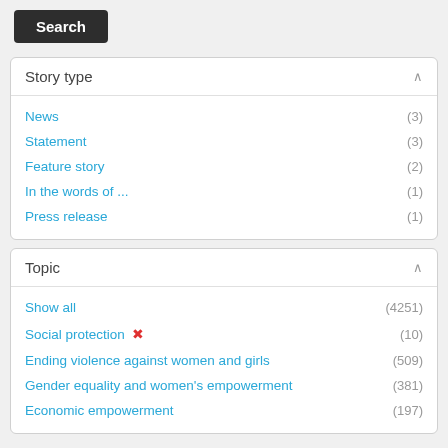Search
Story type
News (3)
Statement (3)
Feature story (2)
In the words of ... (1)
Press release (1)
Topic
Show all (4251)
Social protection ✕ (10)
Ending violence against women and girls (509)
Gender equality and women's empowerment (381)
Economic empowerment (197)